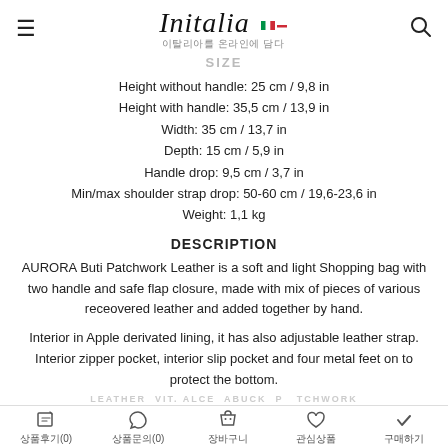Initalia 이탈리아를 온라인에 담다
SIZE
Height without handle: 25 cm / 9,8 in
Height with handle: 35,5 cm / 13,9 in
Width: 35 cm / 13,7 in
Depth: 15 cm / 5,9 in
Handle drop: 9,5 cm / 3,7 in
Min/max shoulder strap drop: 50-60 cm / 19,6-23,6 in
Weight: 1,1 kg
DESCRIPTION
AURORA Buti Patchwork Leather is a soft and light Shopping bag with two handle and safe flap closure, made with mix of pieces of various receovered leather and added together by hand.
Interior in Apple derivated lining, it has also adjustable leather strap. Interior zipper pocket, interior slip pocket and four metal feet on to protect the bottom.
LEATHER VIT. ALCANTABUCK PATCHWORK
상품후기(0) 상품문의(0) 장바구니 관심상품 구매하기